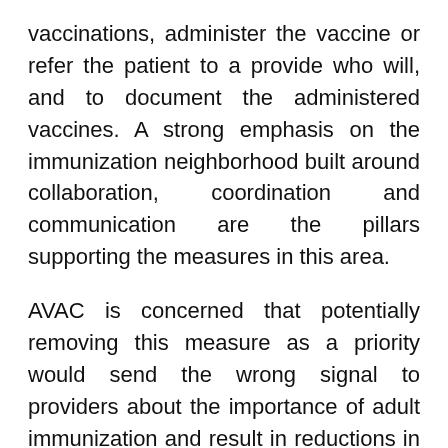vaccinations, administer the vaccine or refer the patient to a provide who will, and to document the administered vaccines. A strong emphasis on the immunization neighborhood built around collaboration, coordination and communication are the pillars supporting the measures in this area.
AVAC is concerned that potentially removing this measure as a priority would send the wrong signal to providers about the importance of adult immunization and result in reductions in coverage rates among this population. As a nation, we presently lag behind Healthy People 2020 targets for adult immunizations and simply cannot afford to lose ground.
Questionthread ONS defines...